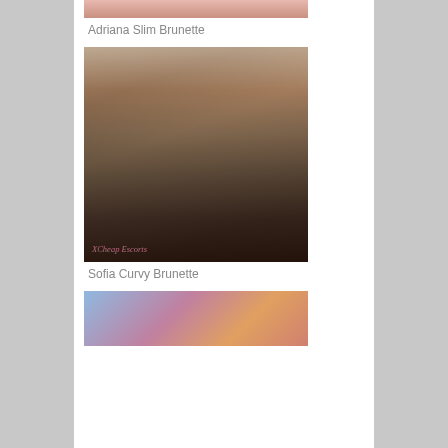[Figure (photo): Partial photo of Adriana, cropped at top]
Adriana Slim Brunette
[Figure (photo): Mirror selfie photo of Sofia in black bikini, with XCheap Escorts watermark]
Sofia Curvy Brunette
[Figure (photo): Partial photo at bottom, cropped, showing colorful background with figure]